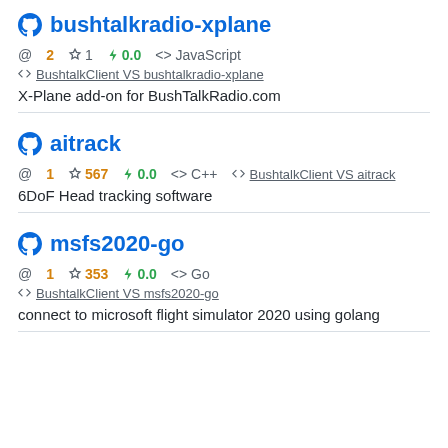bushtalkradio-xplane
@ 2  ☆ 1  ⚡ 0.0  <> JavaScript
BushtalkClient VS bushtalkradio-xplane
X-Plane add-on for BushTalkRadio.com
aitrack
@ 1  ☆ 567  ⚡ 0.0  <> C++  BushtalkClient VS aitrack
6DoF Head tracking software
msfs2020-go
@ 1  ☆ 353  ⚡ 0.0  <> Go
BushtalkClient VS msfs2020-go
connect to microsoft flight simulator 2020 using golang